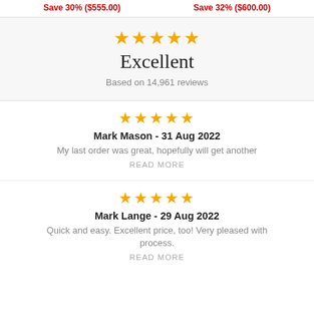Save 30% ($555.00)
Save 32% ($600.00)
Excellent
Based on 14,961 reviews
Mark Mason - 31 Aug 2022
My last order was great, hopefully will get another
READ MORE
Mark Lange - 29 Aug 2022
Quick and easy. Excellent price, too! Very pleased with process.
READ MORE